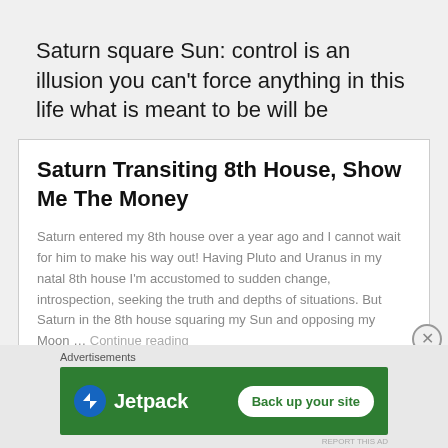Saturn square Sun: control is an illusion you can't force anything in this life what is meant to be will be
Saturn Transiting 8th House, Show Me The Money
Saturn entered my 8th house over a year ago and I cannot wait for him to make his way out! Having Pluto and Uranus in my natal 8th house I'm accustomed to sudden change, introspection, seeking the truth and depths of situations. But Saturn in the 8th house squaring my Sun and opposing my Moon … Continue reading
Advertisements
[Figure (other): Jetpack advertisement banner with green background showing Jetpack logo and 'Back up your site' button]